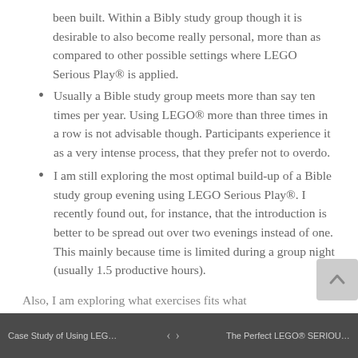been built. Within a Bibly study group though it is desirable to also become really personal, more than as compared to other possible settings where LEGO Serious Play® is applied.
Usually a Bible study group meets more than say ten times per year. Using LEGO® more than three times in a row is not advisable though. Participants experience it as a very intense process, that they prefer not to overdo.
I am still exploring the most optimal build-up of a Bible study group evening using LEGO Serious Play®. I recently found out, for instance, that the introduction is better to be spread out over two evenings instead of one. This mainly because time is limited during a group night (usually 1.5 productive hours).
Case Study of Using LEGO SERIO... | < > | The Perfect LEGO® SERIOUS PL...